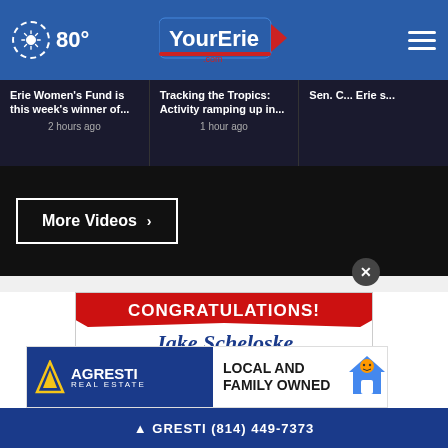80° YourErie.com
Erie Women's Fund is this week's winner of... 2 hours ago
Tracking the Tropics: Activity ramping up in... 1 hour ago
Sen. C... Erie s...
[Figure (screenshot): More Videos button with right arrow on dark background]
[Figure (infographic): Congratulations ad for Jake Scheloske #1 Top Producer 2021]
[Figure (logo): Agresti Real Estate - Local and Family Owned banner ad with house mascot]